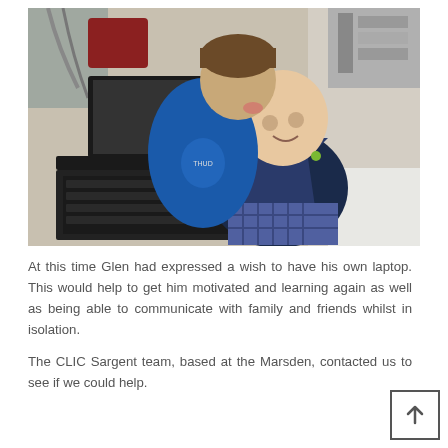[Figure (photo): A child with a bald head (likely from chemotherapy) sitting on a hospital bed using a Dell laptop, being kissed on the cheek by another child wearing a blue hoodie. Medical equipment and hospital bed visible in background.]
At this time Glen had expressed a wish to have his own laptop. This would help to get him motivated and learning again as well as being able to communicate with family and friends whilst in isolation.
The CLIC Sargent team, based at the Marsden, contacted us to see if we could help.